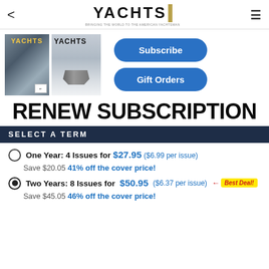YACHTS
[Figure (photo): Two Yachts International magazine covers side by side, plus Subscribe and Gift Orders buttons]
RENEW SUBSCRIPTION
SELECT A TERM
One Year: 4 Issues for $27.95 ($6.99 per issue) Save $20.05 41% off the cover price!
Two Years: 8 Issues for $50.95 ($6.37 per issue) Save $45.05 46% off the cover price! ← Best Deal!